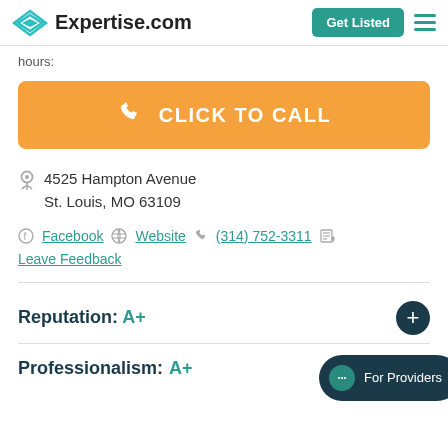Expertise.com | Get Listed
hours:
CLICK TO CALL
4525 Hampton Avenue
St. Louis, MO 63109
Facebook | Website | (314) 752-3311 | Leave Feedback
Reputation: A+
Professionalism: A+